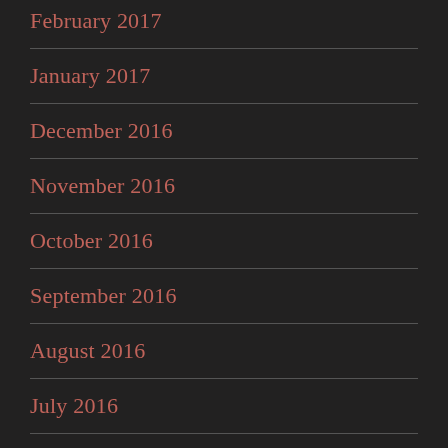February 2017
January 2017
December 2016
November 2016
October 2016
September 2016
August 2016
July 2016
June 2016